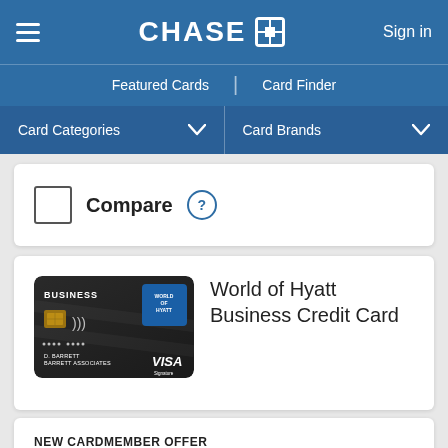CHASE — Sign in
Featured Cards | Card Finder
Card Categories  Card Brands
Compare
World of Hyatt Business Credit Card
NEW CARDMEMBER OFFER